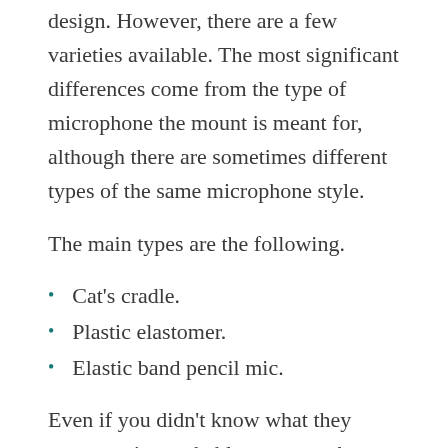All shock mounts follow that same basic design. However, there are a few varieties available. The most significant differences come from the type of microphone the mount is meant for, although there are sometimes different types of the same microphone style.
The main types are the following.
Cat's cradle.
Plastic elastomer.
Elastic band pencil mic.
Even if you didn't know what they were, you've probably seen a cat's cradle shock